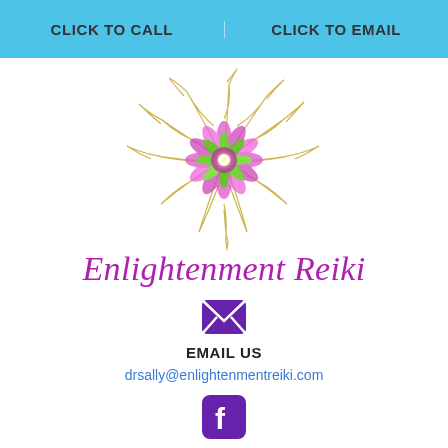CLICK TO CALL | CLICK TO EMAIL
[Figure (logo): Enlightenment Reiki decorative sunburst logo with gold swirling rays and colorful pink/green/purple center, with cursive purple text 'Enlightenment Reiki' below]
[Figure (illustration): Purple envelope/email icon]
EMAIL US
drsally@enlighttenmentreiki.com
[Figure (illustration): Facebook icon - purple rounded square with white F]